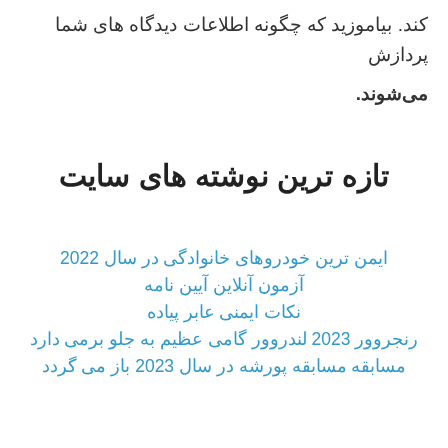کند. بیاموزید که چگونه اطلاعات دیدگاه های شما پردازش می‌شوند.
تازه ترین نوشته های سایت
ایمن ترین خودروهای خانوادگی در سال 2022
آزمون آنلاین آیین نامه
نکات ایمنی عابر پیاده
رنجروور 2023 لندروور گامی عظیم به جلو برمی دارد
مسابقه مسابقه پورشه در سال 2023 باز می گردد